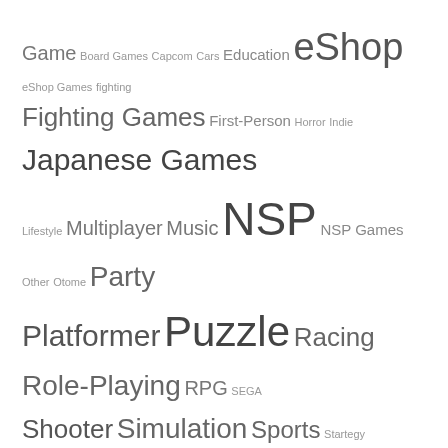[Figure (infographic): Tag cloud for gaming website NXBrew.com with various game categories in different font sizes. Tags include: Game, Board Games, Capcom, Cars, Education, eShop, eShop Games, fighting, Fighting Games, First-Person, Horror, Indie, Japanese Games, Lifestyle, Multiplayer, Music, NSP, NSP Games, Other, Otome, Party, Platformer, Puzzle, Racing, Role-Playing, RPG, SEGA, Shooter, Simulation, Sports, Startegy, Strategy, Study, Switch, Switch Exclusive, Switch Games, Turn Based, Utility, Visual Novel, XCI]
NXBrew.com © 2019. All Rights Reserved.